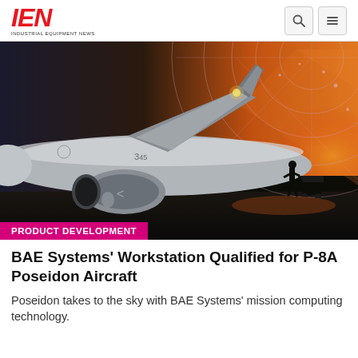IEN INDUSTRIAL EQUIPMENT NEWS
[Figure (photo): Military aircraft (P-8A Poseidon) on a tarmac at dusk with orange sky and radar/digital overlay graphics. A ground crew member with equipment is visible in silhouette on the right.]
PRODUCT DEVELOPMENT
BAE Systems' Workstation Qualified for P-8A Poseidon Aircraft
Poseidon takes to the sky with BAE Systems' mission computing technology.